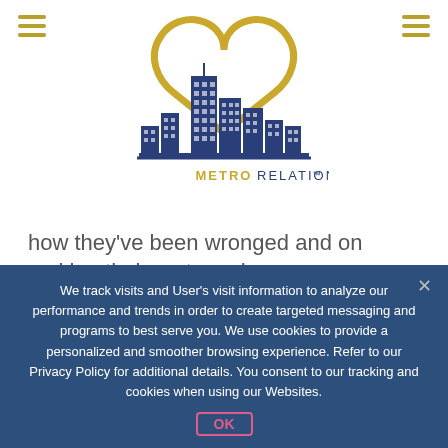MetroRelationship™ navigation header
[Figure (logo): MetroRelationship logo: city skyline in dark navy blue with a gold heart shape above, text METRORELATIONSHIP™ below in gold and navy]
how they've been wronged and on making their partner change…
In a relationship that flourishes the partners don't focus on their partner's imperfections, instead they focus on
We track visits and User's visit information to analyze our performance and trends in order to create targeted messaging and programs to best serve you. We use cookies to provide a personalized and smoother browsing experience. Refer to our Privacy Policy for additional details. You consent to our tracking and cookies when using our Websites.
OK